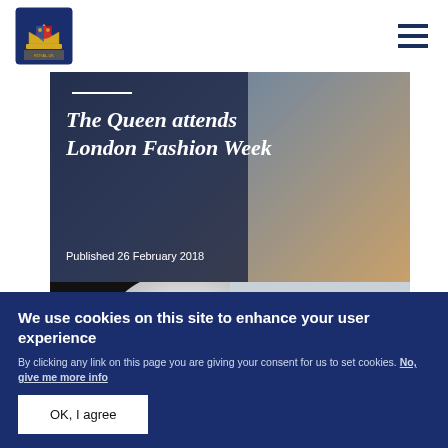Royal.uk header with logo and navigation menu
[Figure (photo): Article hero image with overlaid title 'The Queen attends London Fashion Week' and date 'Published 26 February 2018' on a dark semi-transparent overlay, background shows a close-up photo related to fashion]
The Queen attends London Fashion Week
Published 26 February 2018
[Figure (photo): Article body image strip showing a white plate/hat detail against dark background]
We use cookies on this site to enhance your user experience
By clicking any link on this page you are giving your consent for us to set cookies. No, give me more info
OK, I agree